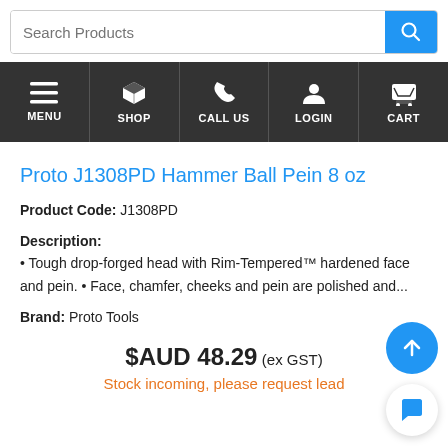Search Products
MENU | SHOP | CALL US | LOGIN | CART
Proto J1308PD Hammer Ball Pein 8 oz
Product Code: J1308PD
Description:
• Tough drop-forged head with Rim-Tempered™ hardened face and pein. • Face, chamfer, cheeks and pein are polished and...
Brand: Proto Tools
$AUD 48.29 (ex GST)
Stock incoming, please request lead time